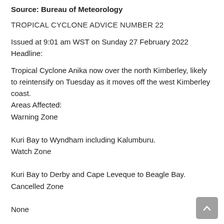Source: Bureau of Meteorology
TROPICAL CYCLONE ADVICE NUMBER 22
Issued at 9:01 am WST on Sunday 27 February 2022
Headline:
Tropical Cyclone Anika now over the north Kimberley, likely to reintensify on Tuesday as it moves off the west Kimberley coast.
Areas Affected:
Warning Zone
Kuri Bay to Wyndham including Kalumburu.
Watch Zone
Kuri Bay to Derby and Cape Leveque to Beagle Bay.
Cancelled Zone
None